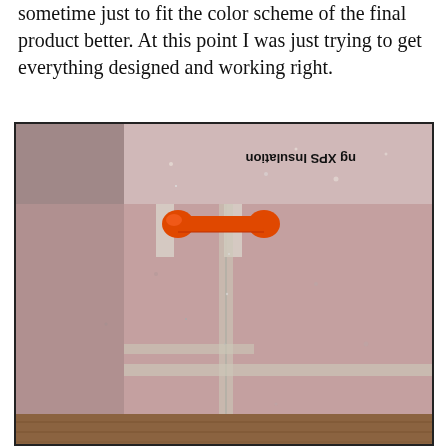sometime just to fit the color scheme of the final product better. At this point I was just trying to get everything designed and working right.
[Figure (photo): Photo of pink XPS foam insulation boards arranged at a corner, taped together with clear tape. A small orange 3D-printed bone-shaped connector piece sits on top of the foam at the corner joint. A label reading 'ng XPS Insulation' is visible upside-down at the top of the image.]